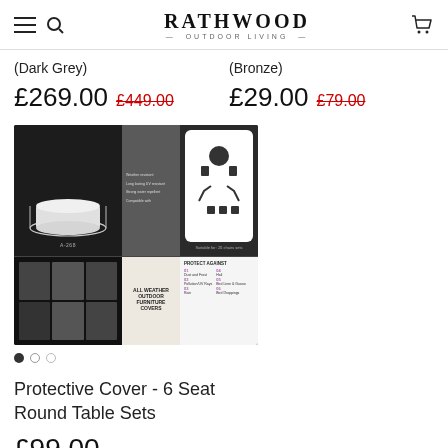RATHWOOD — OUTDOOR LIVING
(Dark Grey)
(Bronze)
£269.00 £449.00
£29.00 £79.00
[Figure (screenshot): Product image showing protective cover detail with top-down diagram, dimensions, and product thumbnail grid.]
Protective Cover - 6 Seat
Round Table Sets
£99.00